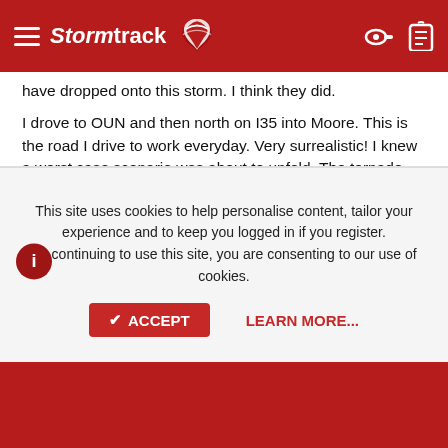StormTrack [logo]
have dropped onto this storm. I think they did.

I drove to OUN and then north on I35 into Moore. This is the road I drive to work everyday. Very surrealistic! I knew a worst case scenario was about to unfold. The tornado was 1/3rd to 1/2 mile wide at this point (estimated). Wichita Falls was 1.5 miles wide when it went through in '79. I continued to have video problems (%^&!) but was able to film some of the tornado from an overpass near Wall Mart Super Center in south Moore. Brilliant blue power flashes were frequent and chunky debris engulfed the dark tornado.
This site uses cookies to help personalise content, tailor your experience and to keep you logged in if you register.
By continuing to use this site, you are consenting to our use of cookies.
ACCEPT   LEARN MORE...